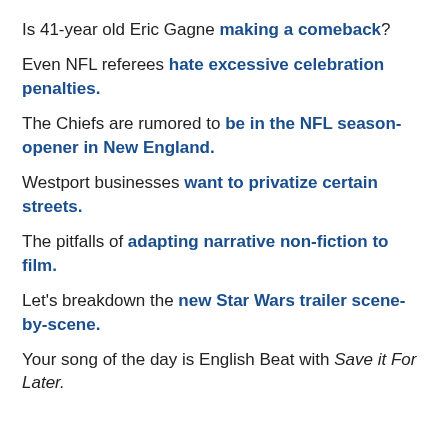Is 41-year old Eric Gagne making a comeback?
Even NFL referees hate excessive celebration penalties.
The Chiefs are rumored to be in the NFL season-opener in New England.
Westport businesses want to privatize certain streets.
The pitfalls of adapting narrative non-fiction to film.
Let's breakdown the new Star Wars trailer scene-by-scene.
Your song of the day is English Beat with Save it For Later.